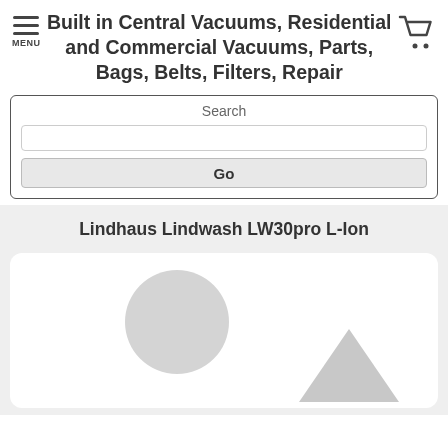MENU | Built in Central Vacuums, Residential and Commercial Vacuums, Parts, Bags, Belts, Filters, Repair | [cart icon]
Search
Go
Lindhaus Lindwash LW30pro L-Ion
[Figure (photo): Placeholder product image with grey circle and triangle on white rounded rectangle background]